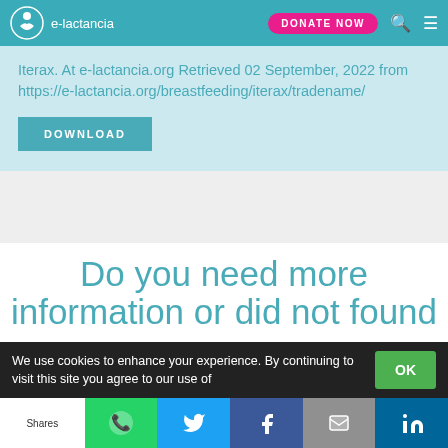e-lactancia | DONATE NOW
Iterax. At e-lactancia.org Retrieved 02 September, 2022 from https://e-lactancia.org/breastfeeding/iterax/tradename/
DOWNLOAD
Do you need more information or did not found what you are looking for?
We use cookies to enhance your experience. By continuing to visit this site you agree to our use of
OK
Shares